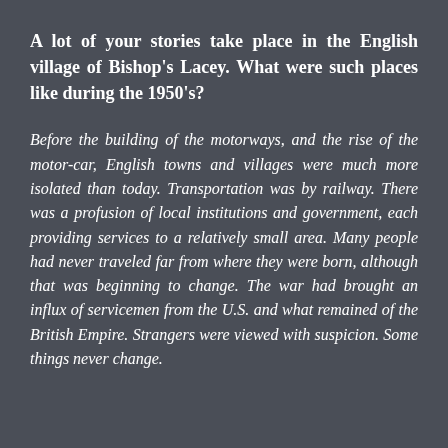A lot of your stories take place in the English village of Bishop's Lacey. What were such places like during the 1950's?
Before the building of the motorways, and the rise of the motor-car, English towns and villages were much more isolated than today. Transportation was by railway. There was a profusion of local institutions and government, each providing services to a relatively small area. Many people had never traveled far from where they were born, although that was beginning to change. The war had brought an influx of servicemen from the U.S. and what remained of the British Empire. Strangers were viewed with suspicion. Some things never change.